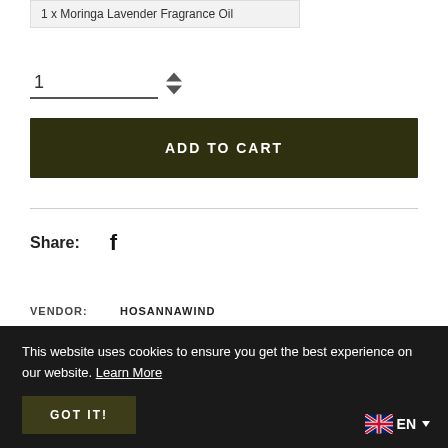1 x Moringa Lavender Fragrance Oil
1
ADD TO CART
Share:
VENDOR:   HOSANNAWIND
TYPE:   ANOINTING SERIES
This website uses cookies to ensure you get the best experience on our website. Learn More
GOT IT!
EN